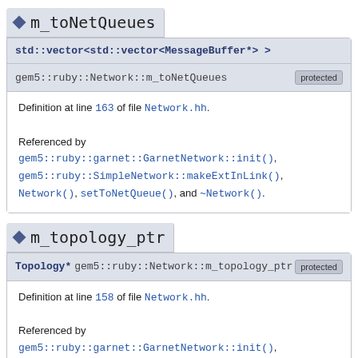m_toNetQueues
std::vector<std::vector<MessageBuffer*> > gem5::ruby::Network::m_toNetQueues  protected
Definition at line 163 of file Network.hh.
Referenced by gem5::ruby::garnet::GarnetNetwork::init(), gem5::ruby::SimpleNetwork::makeExtInLink(), Network(), setToNetQueue(), and ~Network().
m_topology_ptr
Topology* gem5::ruby::Network::m_topology_ptr  protected
Definition at line 158 of file Network.hh.
Referenced by gem5::ruby::garnet::GarnetNetwork::init(),